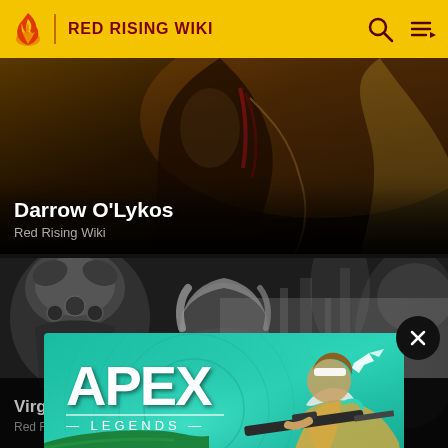RED RISING WIKI
[Figure (illustration): Dark fantasy illustration card showing a figure with a cape/cloak in warm golden-brown tones. Title overlay: Darrow O'Lykos, Red Rising Wiki]
Darrow O'Lykos
Red Rising Wiki
[Figure (illustration): Dark black-and-white illustration showing armored figure on left and a blonde woman facing forward, with misty cityscape in background. Partially visible character on far right.]
[Figure (screenshot): Apex Legends advertisement banner with teal/cyan background showing a character with a sniper rifle and the Apex Legends logo]
Virgi
Red Rising Wiki